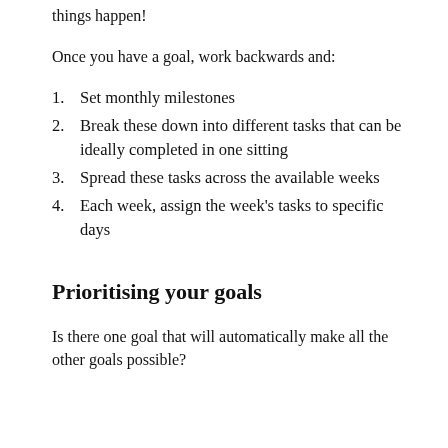things happen!
Once you have a goal, work backwards and:
Set monthly milestones
Break these down into different tasks that can be ideally completed in one sitting
Spread these tasks across the available weeks
Each week, assign the week's tasks to specific days
Prioritising your goals
Is there one goal that will automatically make all the other goals possible?